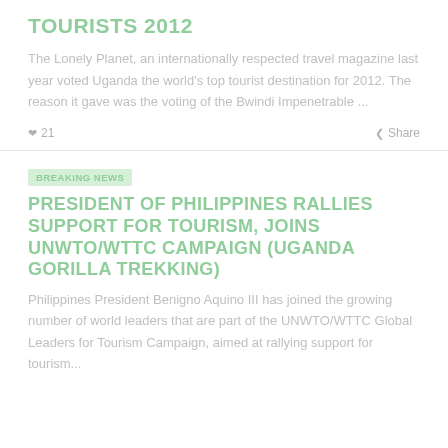TOURISTS 2012
The Lonely Planet, an internationally respected travel magazine last year voted Uganda the world's top tourist destination for 2012. The reason it gave was the voting of the Bwindi Impenetrable ...
♥ 21   Share
BREAKING NEWS
PRESIDENT OF PHILIPPINES RALLIES SUPPORT FOR TOURISM, JOINS UNWTO/WTTC CAMPAIGN (UGANDA GORILLA TREKKING)
Philippines President Benigno Aquino III has joined the growing number of world leaders that are part of the UNWTO/WTTC Global Leaders for Tourism Campaign, aimed at rallying support for tourism...